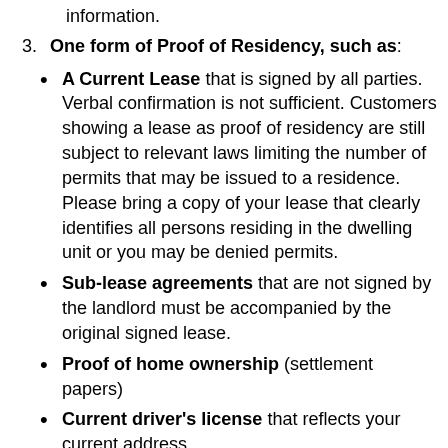information.
3. One form of Proof of Residency, such as:
A Current Lease that is signed by all parties. Verbal confirmation is not sufficient. Customers showing a lease as proof of residency are still subject to relevant laws limiting the number of permits that may be issued to a residence. Please bring a copy of your lease that clearly identifies all persons residing in the dwelling unit or you may be denied permits.
Sub-lease agreements that are not signed by the landlord must be accompanied by the original signed lease.
Proof of home ownership (settlement papers)
Current driver's license that reflects your current address
Utility bill in your name, reflecting current